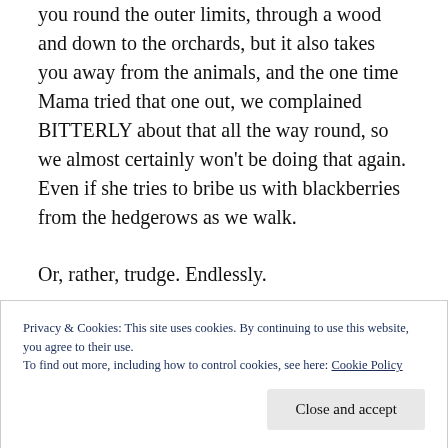you round the outer limits, through a wood and down to the orchards, but it also takes you away from the animals, and the one time Mama tried that one out, we complained BITTERLY about that all the way round, so we almost certainly won't be doing that again. Even if she tries to bribe us with blackberries from the hedgerows as we walk.
Or, rather, trudge. Endlessly.
Walking and gawking are not the only two possibilities open to you at Church Farm, Ardeley though. You can also FEED THE ANIMALS! To do this
Privacy & Cookies: This site uses cookies. By continuing to use this website, you agree to their use.
To find out more, including how to control cookies, see here: Cookie Policy
Close and accept